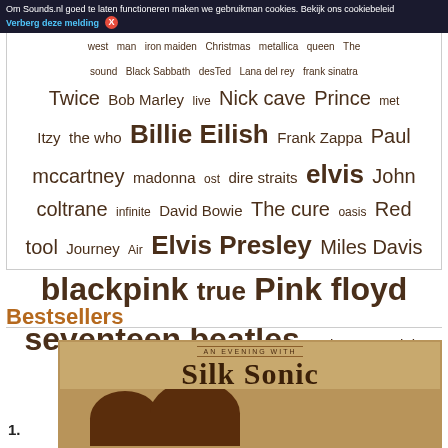Om Sounds.nl goed te laten functioneren maken we gebruikman cookies. Bekijk ons cookiebeleid — Verberg deze melding X
[Figure (infographic): Word cloud of music artists and bands in brown text on white background, including: west, man, iron maiden, Christmas, metallica, queen, The, sound, Black Sabbath, desTed, Lana del rey, frank sinatra, Twice, Bob Marley, live, Nick cave, Prince, met, Itzy, the who, Billie Eilish, Frank Zappa, Paul, mccartney, madonna, ost, dire straits, elvis, John, coltrane, infinite, David Bowie, The cure, oasis, Red, tool, Journey, Air, Elvis Presley, Miles Davis, blackpink, true, Pink floyd, seventeen, beatles, Lady gaga, adele]
Bestsellers
1. An Evening With Silk Sonic — product album cover image